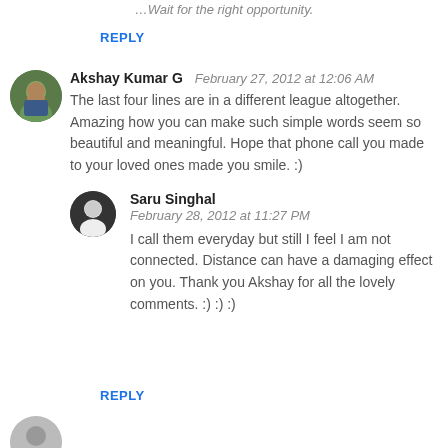…Wait for the right opportunity.
REPLY
Akshay Kumar G  February 27, 2012 at 12:06 AM
The last four lines are in a different league altogether. Amazing how you can make such simple words seem so beautiful and meaningful. Hope that phone call you made to your loved ones made you smile. :)
Saru Singhal  February 28, 2012 at 11:27 PM
I call them everyday but still I feel I am not connected. Distance can have a damaging effect on you. Thank you Akshay for all the lovely comments. :) :) :)
REPLY